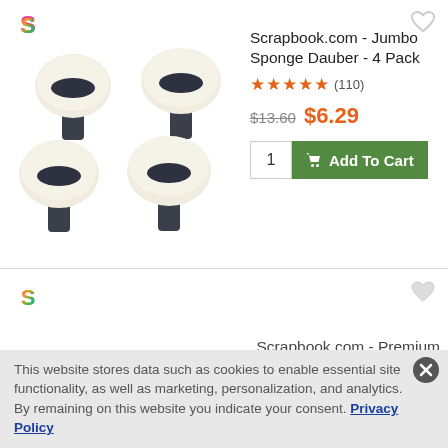[Figure (logo): Scrapbook.com colorful S logo, top left of product 1]
[Figure (photo): Four jumbo sponge daubers arranged in 2x2 grid, white sponge heads with dark grey handles]
Scrapbook.com - Jumbo Sponge Dauber - 4 Pack
★★★★★ (110)
$13.60  $6.29
1  Add To Cart
[Figure (logo): Scrapbook.com colorful S logo, top left of product 2]
Scrapbook.com - Premium
This website stores data such as cookies to enable essential site functionality, as well as marketing, personalization, and analytics. By remaining on this website you indicate your consent. Privacy Policy